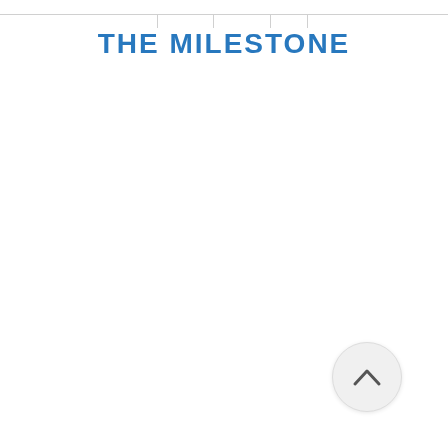THE MILESTONE
[Figure (other): A circular back-to-top button with a chevron/caret arrow pointing upward, located in the bottom-right area of the page.]